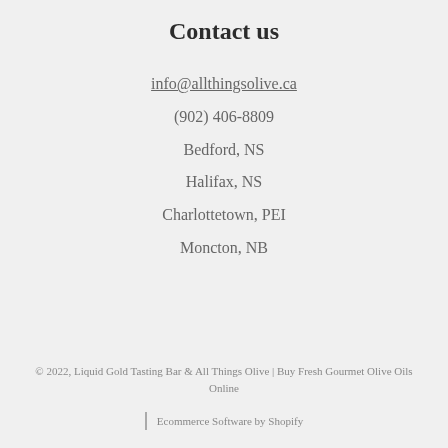Contact us
info@allthingsolive.ca
(902) 406-8809
Bedford, NS
Halifax, NS
Charlottetown, PEI
Moncton, NB
© 2022, Liquid Gold Tasting Bar & All Things Olive | Buy Fresh Gourmet Olive Oils Online
Ecommerce Software by Shopify